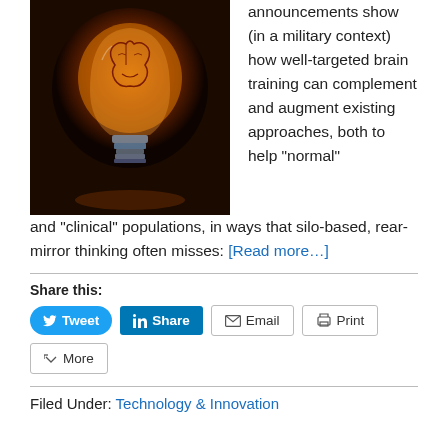[Figure (photo): A glowing light bulb with a brain visible inside, on a dark background.]
announcements show (in a military context) how well-targeted brain training can complement and augment existing approaches, both to help “normal” and “clinical” populations, in ways that silo-based, rear-mirror thinking often misses: [Read more…]
Share this:
Tweet | Share | Email | Print | More
Filed Under: Technology & Innovation